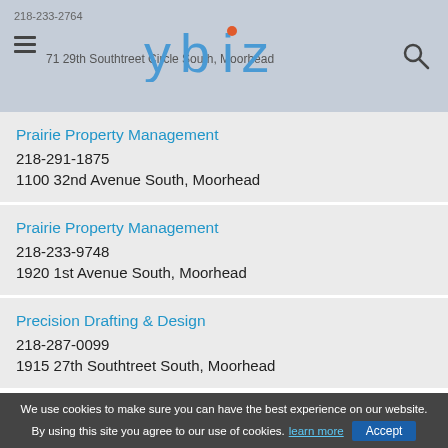ybiz — 218-233-2764 | 71 29th Southtreet Circle South, Moorhead
Prairie Property Management
218-291-1875
1100 32nd Avenue South, Moorhead
Prairie Property Management
218-233-9748
1920 1st Avenue South, Moorhead
Precision Drafting & Design
218-287-0099
1915 27th Southtreet South, Moorhead
We use cookies to make sure you can have the best experience on our website. By using this site you agree to our use of cookies. learn more  Accept